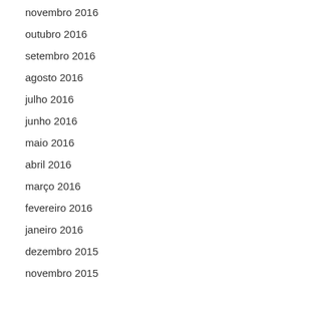novembro 2016
outubro 2016
setembro 2016
agosto 2016
julho 2016
junho 2016
maio 2016
abril 2016
março 2016
fevereiro 2016
janeiro 2016
dezembro 2015
novembro 2015